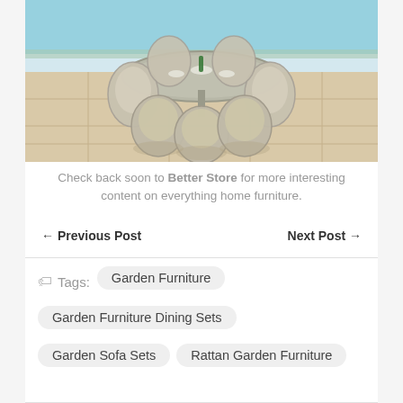[Figure (photo): Outdoor wicker/rattan dining set with round table and eight chairs arranged around it, set on a stone patio beside a swimming pool, with food and drinks on the table.]
Check back soon to Better Store for more interesting content on everything home furniture.
← Previous Post    Next Post →
Tags:  Garden Furniture  Garden Furniture Dining Sets  Garden Sofa Sets  Rattan Garden Furniture